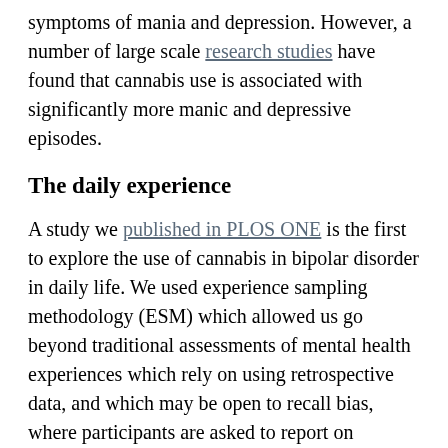symptoms of mania and depression. However, a number of large scale research studies have found that cannabis use is associated with significantly more manic and depressive episodes.
The daily experience
A study we published in PLOS ONE is the first to explore the use of cannabis in bipolar disorder in daily life. We used experience sampling methodology (ESM) which allowed us go beyond traditional assessments of mental health experiences which rely on using retrospective data, and which may be open to recall bias, where participants are asked to report on symptoms or substance use that has occurred in the past and where there can be differences between what occurred and the accuracy or completeness of the recollection.